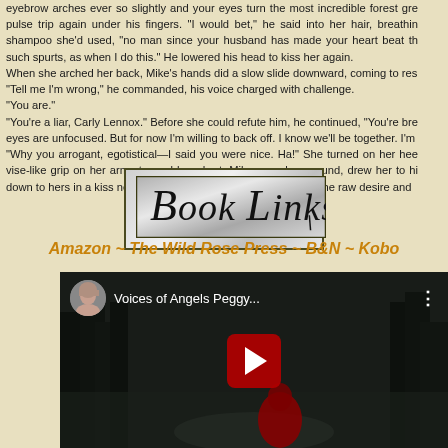eyebrow arches ever so slightly and your eyes turn the most incredible forest gre pulse trip again under his fingers. “I would bet,” he said into her hair, breathin shampoo she’d used, “no man since your husband has made your heart beat th such spurts, as when I do this.” He lowered his head to kiss her again. When she arched her back, Mike’s hands did a slow slide downward, coming to res “Tell me I’m wrong,” he commanded, his voice charged with challenge. “You are.” “You’re a liar, Carly Lennox.” Before she could refute him, he continued, “You’re bre eyes are unfocused. But for now I’m willing to back off. I know we’ll be together. I’m “Why you arrogant, egotistical—I said you were nice. Ha!” She turned on her hee vise-like grip on her arm stopped her short. Mike spun her around, drew her to hi down to hers in a kiss neither patient, nor tender. It bespoke all the raw desire and
[Figure (logo): Book Links logo in a silver/grey gradient box with ornate black italic serif lettering reading 'Book Links' with decorative swash elements]
Amazon ~ The Wild Rose Press ~ B&N ~ Kobo
[Figure (screenshot): YouTube video thumbnail showing 'Voices of Angels Peggy...' with a circular avatar photo of a woman, three-dot menu icon, dark background with trees, red figure at bottom, and a red YouTube play button in the center]